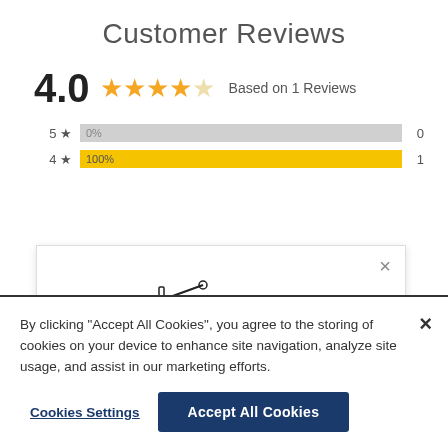Customer Reviews
4.0  ★★★★☆  Based on 1 Reviews
[Figure (bar-chart): Star rating distribution]
[Figure (logo): Hancock Seed Company logo with combine harvester illustration]
By clicking “Accept All Cookies”, you agree to the storing of cookies on your device to enhance site navigation, analyze site usage, and assist in our marketing efforts.
Cookies Settings
Accept All Cookies